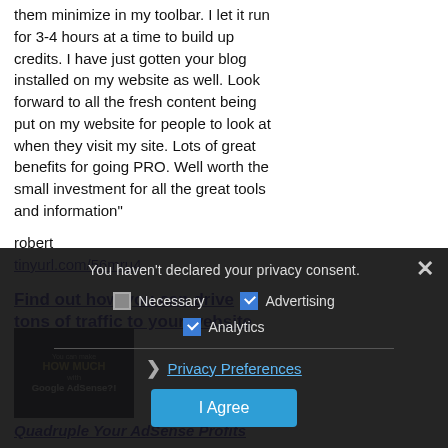them minimize in my toolbar. I let it run for 3-4 hours at a time to build up credits. I have just gotten your blog installed on my website as well. Look forward to all the fresh content being put on my website for people to look at when they visit my site. Lots of great benefits for going PRO. Well worth the small investment for all the great tools and information"
robert
tinyurl.com/56mru4
Find out how you can drive tons of traffic to your website for FREE
You haven't declared your privacy consent.
Necessary | Advertising | Analytics
Privacy Preferences
I Agree
[Figure (illustration): Book cover: You can make HOW MUCH with Google AdSense?!]
Quadruple Your AdSense Profits